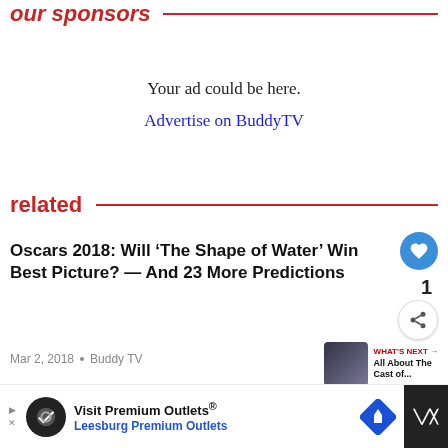our sponsors
Your ad could be here.
Advertise on BuddyTV
related
Oscars 2018: Will ‘The Shape of Water’ Win Best Picture? — And 23 More Predictions
Mar 2, 2018 • Buddy TV
WHAT’S NEXT → All About The Cast of...
Why We Need ‘Sweet/Vicious’
Visit Premium Outlets® Leesburg Premium Outlets